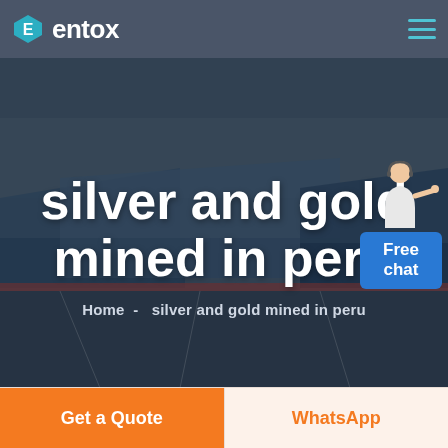entox
[Figure (screenshot): Industrial facility aerial view with large blue-roofed warehouses, used as hero background image]
silver and gold mined in peru
Home  -  silver and gold mined in peru
[Figure (illustration): Customer service person with headset standing next to a blue 'Free chat' button widget]
Get a Quote
WhatsApp